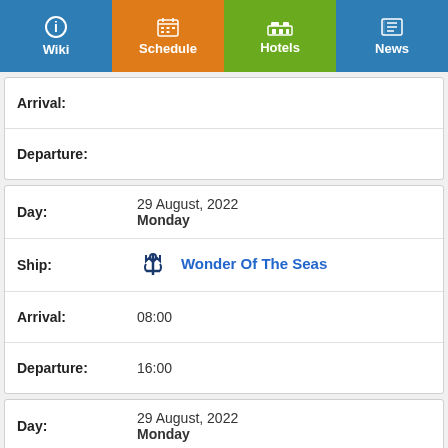Wiki | Schedule | Hotels | News
| Field | Value |
| --- | --- |
| Arrival: |  |
| Departure: |  |
| Field | Value |
| --- | --- |
| Day: | 29 August, 2022 Monday |
| Ship: | Wonder Of The Seas |
| Arrival: | 08:00 |
| Departure: | 16:00 |
| Field | Value |
| --- | --- |
| Day: | 29 August, 2022 Monday |
| Ship: | Valiant Lady |
| Arrival: | 08:00 |